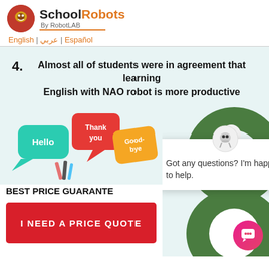School Robots By RobotLAB
English | عربي | Español
4. Almost all of students were in agreement that learning English with NAO robot is more productive
[Figure (illustration): Speech bubbles with words Hello, Thank you, Goodbye in colorful chat bubble shapes]
BEST PRICE GUARANTEE
I NEED A PRICE QUOTE
[Figure (illustration): Green donut/circle shape with NAO robot icon at top]
Got any questions? I'm happy to help.